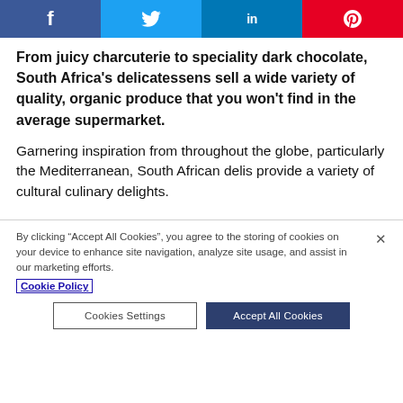[Figure (other): Social share bar with Facebook, Twitter, LinkedIn, and Pinterest buttons]
From juicy charcuterie to speciality dark chocolate, South Africa's delicatessens sell a wide variety of quality, organic produce that you won't find in the average supermarket.
Garnering inspiration from throughout the globe, particularly the Mediterranean, South African delis provide a variety of cultural culinary delights.
By clicking “Accept All Cookies”, you agree to the storing of cookies on your device to enhance site navigation, analyze site usage, and assist in our marketing efforts. Cookie Policy
Cookies Settings | Accept All Cookies